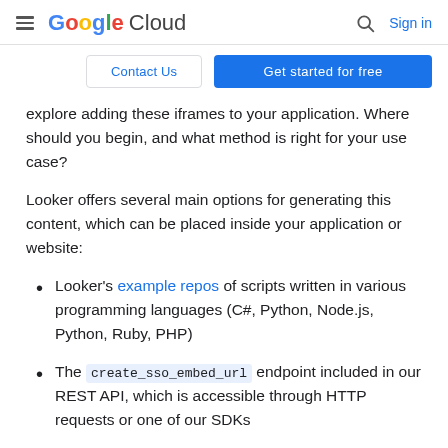Google Cloud — Search | Sign in
Contact Us | Get started for free
explore adding these iframes to your application. Where should you begin, and what method is right for your use case?
Looker offers several main options for generating this content, which can be placed inside your application or website:
Looker's example repos of scripts written in various programming languages (C#, Python, Node.js, Python, Ruby, PHP)
The create_sso_embed_url endpoint included in our REST API, which is accessible through HTTP requests or one of our SDKs